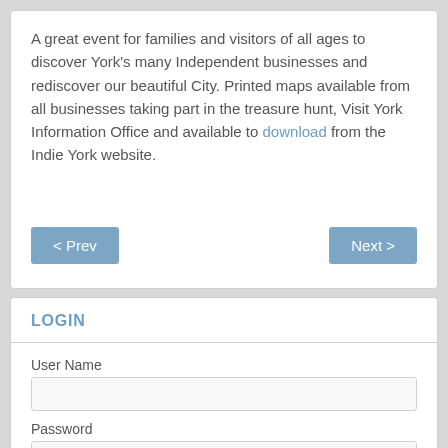A great event for families and visitors of all ages to discover York's many Independent businesses and rediscover our beautiful City. Printed maps available from all businesses taking part in the treasure hunt, Visit York Information Office and available to download from the Indie York website.
LOGIN
User Name
Password
Remember Me
Log in